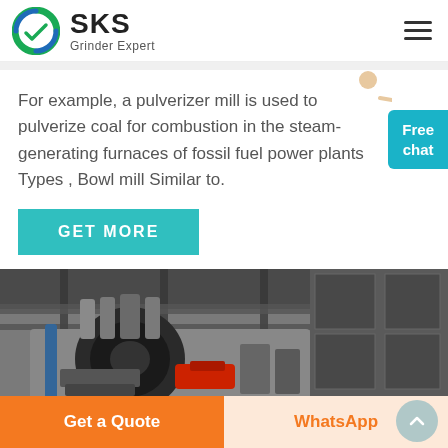[Figure (logo): SKS Grinder Expert logo with circular emblem and text]
For example, a pulverizer mill is used to pulverize coal for combustion in the steam-generating furnaces of fossil fuel power plants Types , Bowl mill Similar to.
[Figure (photo): Industrial machine/pulverizer mill equipment inside a factory]
GET MORE
Free chat
Get a Quote
WhatsApp